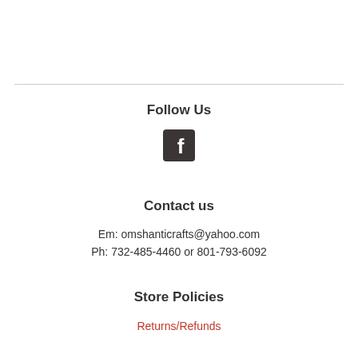Follow Us
[Figure (logo): Facebook icon - dark square with white 'f' letter]
Contact us
Em: omshanticrafts@yahoo.com
Ph: 732-485-4460 or 801-793-6092
Store Policies
Returns/Refunds